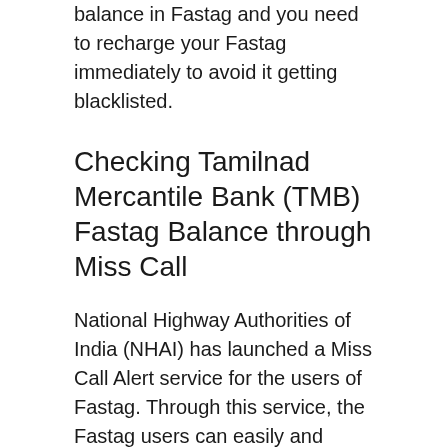balance in Fastag and you need to recharge your Fastag immediately to avoid it getting blacklisted.
Checking Tamilnad Mercantile Bank (TMB) Fastag Balance through Miss Call
National Highway Authorities of India (NHAI) has launched a Miss Call Alert service for the users of Fastag. Through this service, the Fastag users can easily and quickly check their Fastag balance by giving a miss call on the number +91-8884333331. For checking the Fastag balance through Miss Call service, the mobile number must be registered with the prepaid wallet of the National Highways Authority of India.